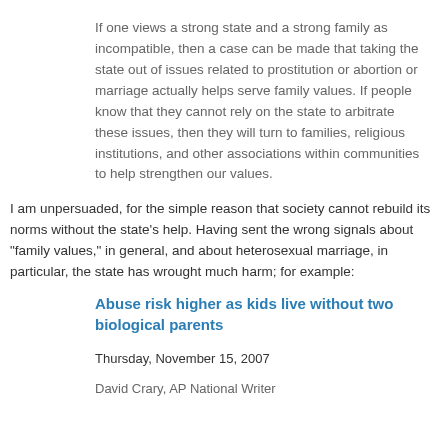If one views a strong state and a strong family as incompatible, then a case can be made that taking the state out of issues related to prostitution or abortion or marriage actually helps serve family values. If people know that they cannot rely on the state to arbitrate these issues, then they will turn to families, religious institutions, and other associations within communities to help strengthen our values.
I am unpersuaded, for the simple reason that society cannot rebuild its norms without the state's help. Having sent the wrong signals about "family values," in general, and about heterosexual marriage, in particular, the state has wrought much harm; for example:
Abuse risk higher as kids live without two biological parents
Thursday, November 15, 2007
David Crary, AP National Writer